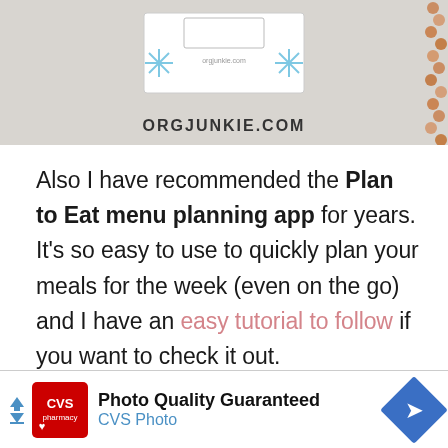[Figure (photo): A snowflake-decorated menu planning card on a gray background with orange/coral beads on the right side. Watermark text 'ORGJUNKIE.COM' visible at bottom of image.]
Also I have recommended the Plan to Eat menu planning app for years. It's so easy to use to quickly plan your meals for the week (even on the go) and I have an easy tutorial to follow if you want to check it out.
[Figure (screenshot): Advertisement banner: CVS Pharmacy logo with text 'Photo Quality Guaranteed CVS Photo' and a blue diamond navigation arrow on the right.]